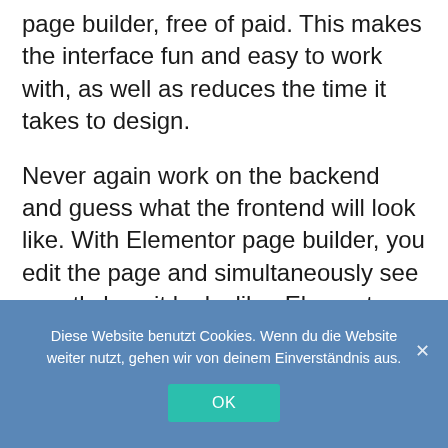page builder, free of paid. This makes the interface fun and easy to work with, as well as reduces the time it takes to design.
Never again work on the backend and guess what the frontend will look like. With Elementor page builder, you edit the page and simultaneously see exactly how it looks like. Elementor features live design & inline editing, so the whole process of writing and designing is done directly on the
Diese Website benutzt Cookies. Wenn du die Website weiter nutzt, gehen wir von deinem Einverständnis aus.
OK